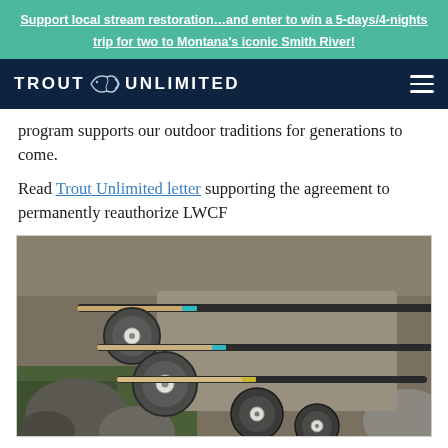Support local stream restoration…and enter to win a 5-days/4-nights trip for two to Montana's iconic Smith River!
[Figure (logo): Trout Unlimited logo with fish icon on dark navy background]
program supports our outdoor traditions for generations to come.
Read Trout Unlimited letter supporting the agreement to permanently reauthorize LWCF
[Figure (photo): Multiple fly fishing rods with reels laid out on a stone surface with rocks and green moss]